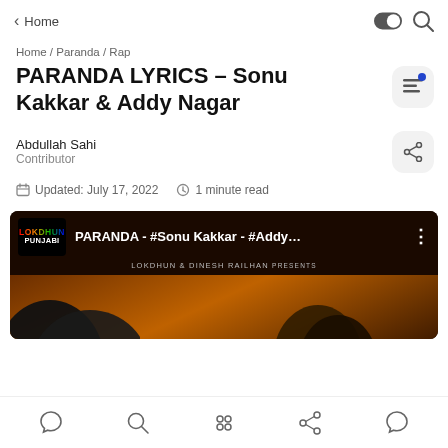Home
Home / Paranda / Rap
PARANDA LYRICS – Sonu Kakkar & Addy Nagar
Abdullah Sahi
Contributor
Updated: July 17, 2022   1 minute read
[Figure (screenshot): YouTube video thumbnail for PARANDA - #Sonu Kakkar - #Addy... with Lokdhun Punjabi logo, presented by LOKDHUN & DINESH RAILHAN]
Bottom navigation bar with home, search, apps, share, and chat icons